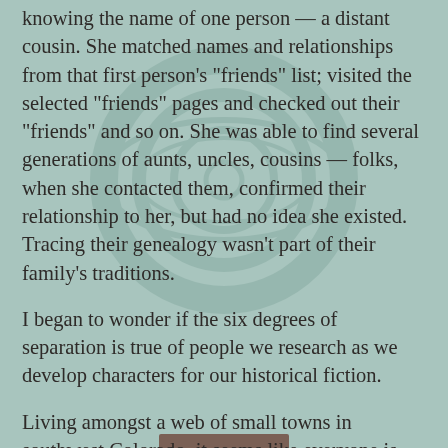knowing the name of one person — a distant cousin. She matched names and relationships from that first person's "friends" list; visited the selected "friends" pages and checked out their "friends" and so on. She was able to find several generations of aunts, uncles, cousins — folks, when she contacted them, confirmed their relationship to her, but had no idea she existed. Tracing their genealogy wasn't part of their family's traditions.
I began to wonder if the six degrees of separation is true of people we research as we develop characters for our historical fiction.
Living amongst a web of small towns in southwest Colorado, it seems like everyone is related to everyone else. The historical linkages are exciting to follow. Two of my Colorado writer friends are sisters in the Nossaman family.